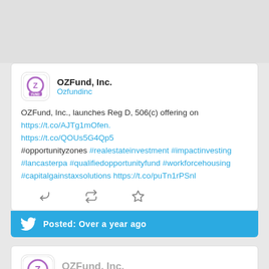[Figure (screenshot): Top gray banner area of a web page showing social media posts]
OZFund, Inc. | Ozfundinc | OZFund, Inc., launches Reg D, 506(c) offering on https://t.co/AJTg1mOfen. https://t.co/QOUs5G4Qp5 #opportunityzones #realestateinvestment #impactinvesting #lancasterpa #qualifiedopportunityfund #workforcehousing #capitalgainstaxsolutions https://t.co/puTn1rPSnl | Posted: Over a year ago
OZFund, Inc. | Ozfundinc | OZFund Now Seeking Community Support on Fundopolis